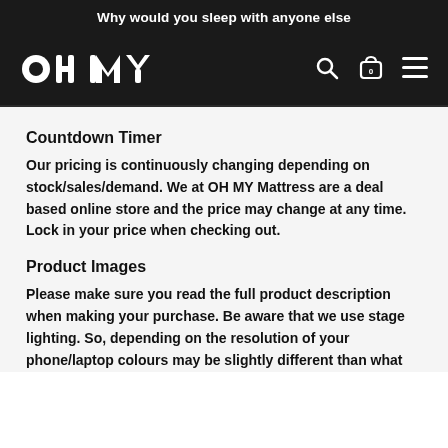Why would you sleep with anyone else
[Figure (logo): OH MY mattress logo in white on dark background, with search icon, cart icon showing 0, and hamburger menu icon]
Countdown Timer
Our pricing is continuously changing depending on stock/sales/demand. We at OH MY Mattress are a deal based online store and the price may change at any time. Lock in your price when checking out.
Product Images
Please make sure you read the full product description when making your purchase. Be aware that we use stage lighting. So, depending on the resolution of your phone/laptop colours may be slightly different than what